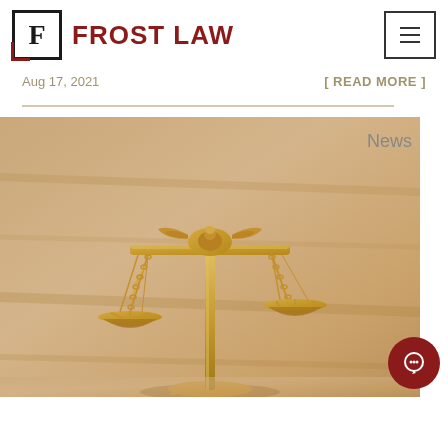FROST LAW
Aug 17, 2021
[ READ MORE ]
News
[Figure (photo): Gold/brass scales of justice (Lady Justice scales) on a wooden surface, photographed close up showing both balance pans suspended by chains from a horizontal bar with an eagle-like ornament at the top.]